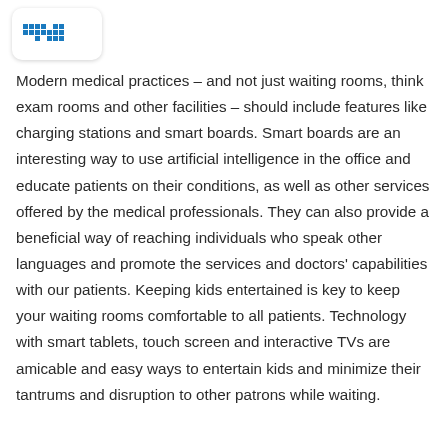[Figure (logo): Medical/health brand logo — rectangular rounded white card with a blue pixelated or blocky text logo inside]
Modern medical practices – and not just waiting rooms, think exam rooms and other facilities – should include features like charging stations and smart boards. Smart boards are an interesting way to use artificial intelligence in the office and educate patients on their conditions, as well as other services offered by the medical professionals. They can also provide a beneficial way of reaching individuals who speak other languages and promote the services and doctors' capabilities with our patients. Keeping kids entertained is key to keep your waiting rooms comfortable to all patients. Technology with smart tablets, touch screen and interactive TVs are amicable and easy ways to entertain kids and minimize their tantrums and disruption to other patrons while waiting.